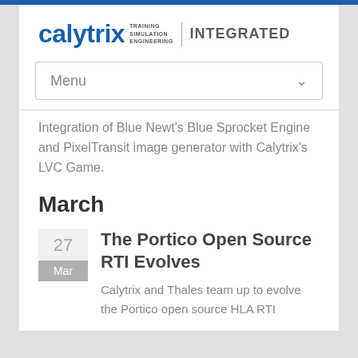[Figure (logo): Calytrix Training Simulation Engineering Integrated logo]
Menu
Integration of Blue Newt's Blue Sprocket Engine and PixelTransit image generator with Calytrix's LVC Game.
March
27 Mar
The Portico Open Source RTI Evolves
Calytrix and Thales team up to evolve the Portico open source HLA RTI